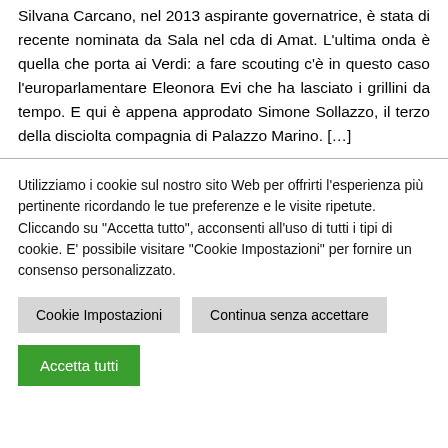Silvana Carcano, nel 2013 aspirante governatrice, è stata di recente nominata da Sala nel cda di Amat. L'ultima onda è quella che porta ai Verdi: a fare scouting c'è in questo caso l'europarlamentare Eleonora Evi che ha lasciato i grillini da tempo. E qui è appena approdato Simone Sollazzo, il terzo della disciolta compagnia di Palazzo Marino. […]
Utilizziamo i cookie sul nostro sito Web per offrirti l'esperienza più pertinente ricordando le tue preferenze e le visite ripetute. Cliccando su "Accetta tutto", acconsenti all'uso di tutti i tipi di cookie. E' possibile visitare "Cookie Impostazioni" per fornire un consenso personalizzato.